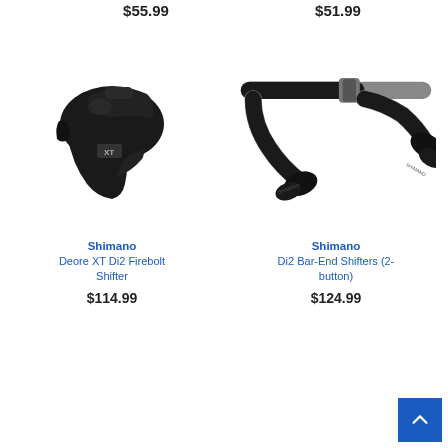$55.99
$51.99
[Figure (photo): Shimano Deore XT Di2 Firebolt Shifter - black bicycle shifter lever on white background]
Shimano
Deore XT Di2 Firebolt Shifter
$114.99
[Figure (photo): Shimano Di2 Bar-End Shifters (2-button) - black bar-end shifters mounted on handlebars on white background]
Shimano
Di2 Bar-End Shifters (2-button)
$124.99